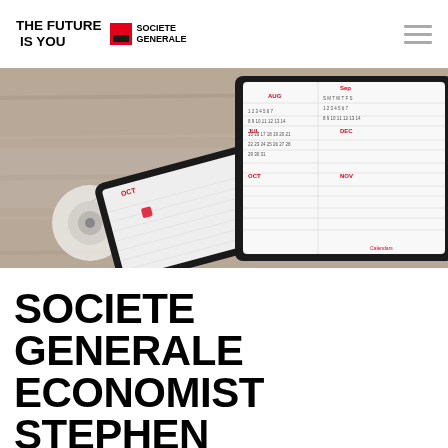THE FUTURE IS YOU | SOCIETE GENERALE
[Figure (photo): Photo of a smartphone and tablet displaying calendars, placed on a wooden surface with earphones, showing months including JUL, AUG, SEP, OCT, NOV, DEC.]
SOCIETE GENERALE ECONOMIST STEPHEN GALLAGHER: TWO MORE FED RATE